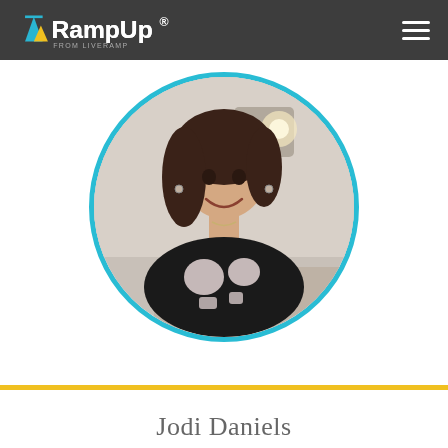RampUp from LiveRamp
[Figure (photo): Circular portrait photo of Jodi Daniels with a cyan/teal border, showing a smiling woman with dark hair wearing a black and white patterned top, set against a blurred interior background]
Jodi Daniels